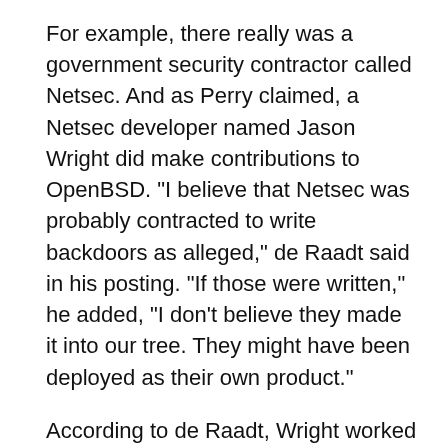For example, there really was a government security contractor called Netsec. And as Perry claimed, a Netsec developer named Jason Wright did make contributions to OpenBSD. "I believe that Netsec was probably contracted to write backdoors as alleged," de Raadt said in his posting. "If those were written," he added, "I don't believe they made it into our tree. They might have been deployed as their own product."
According to de Raadt, Wright worked primarily on drivers for OpenBSD. Another Netsec developer, Angelos Keromytis, wrote security code that used these drivers, de Raadt said.